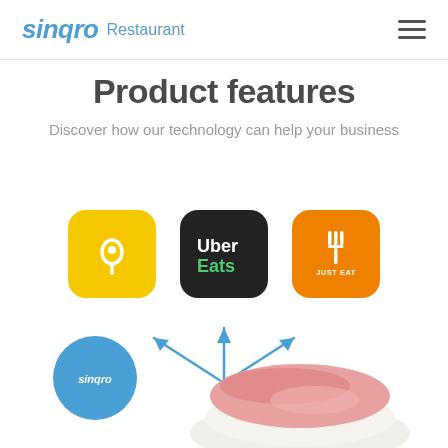sinqro Restaurant
Product features
Discover how our technology can help your business
[Figure (illustration): Three delivery platform app icons: Glovo (yellow with location pin), Uber Eats (dark with green text), Just Eat (orange with fork icon), with arrows pointing upward from a Sinqro circle badge above a sushi nigiri photo]
sinqro